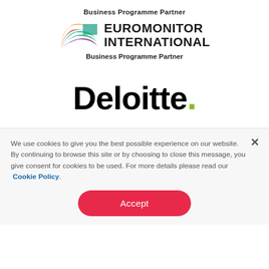Business Programme Partner
[Figure (logo): Euromonitor International logo with colorful arc shapes and bold text EUROMONITOR INTERNATIONAL]
Business Programme Partner
[Figure (logo): Deloitte logo in bold black text with green dot after the period]
We use cookies to give you the best possible experience on our website. By continuing to browse this site or by choosing to close this message, you give consent for cookies to be used. For more details please read our Cookie Policy.
Accept